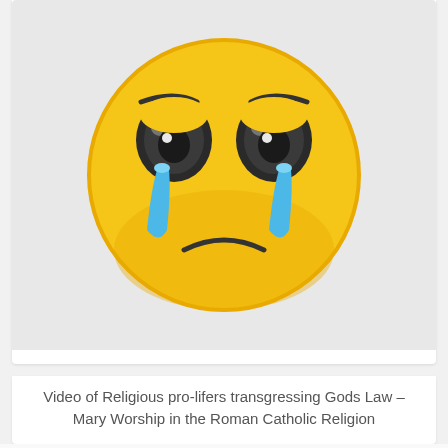[Figure (illustration): Large crying emoji face with yellow skin, sad expression, blue tears, and glasses-shaped eyes on a light gray background]
Video of Religious pro-lifers transgressing Gods Law – Mary Worship in the Roman Catholic Religion
About The Author
[Figure (photo): Circular portrait photo of Bill Rhetts, a man in a suit with a bow tie, smiling, against a brick wall background]
Bill Rhetts
An ordinary sinner saved by an Extraordinary Savior. Radially saved, and radically changed, by a Radical God. For more details, see the above 'About me' tab.